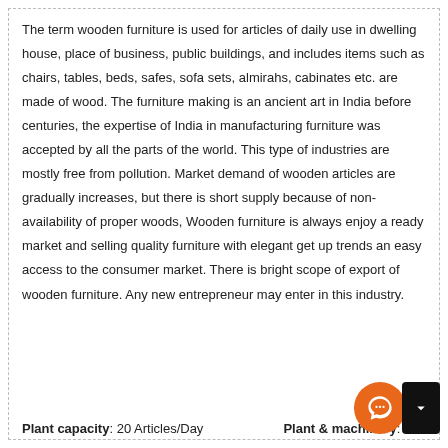The term wooden furniture is used for articles of daily use in dwelling house, place of business, public buildings, and includes items such as chairs, tables, beds, safes, sofa sets, almirahs, cabinates etc. are made of wood. The furniture making is an ancient art in India before centuries, the expertise of India in manufacturing furniture was accepted by all the parts of the world. This type of industries are mostly free from pollution. Market demand of wooden articles are gradually increases, but there is short supply because of non-availability of proper woods, Wooden furniture is always enjoy a ready market and selling quality furniture with elegant get up trends an easy access to the consumer market. There is bright scope of export of wooden furniture. Any new entrepreneur may enter in this industry.
Plant capacity: 20 Articles/Day   Plant & machinery: Rs. [partially visible]